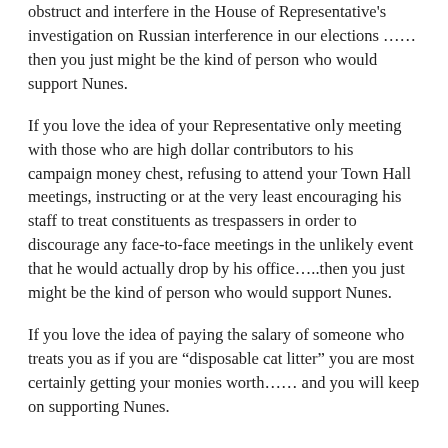obstruct and interfere in the House of Representative's investigation on Russian interference in our elections …… then you just might be the kind of person who would support Nunes.
If you love the idea of your Representative only meeting with those who are high dollar contributors to his campaign money chest, refusing to attend your Town Hall meetings, instructing or at the very least encouraging his staff to treat constituents as trespassers in order to discourage any face-to-face meetings in the unlikely event that he would actually drop by his office…..then you just might be the kind of person who would support Nunes.
If you love the idea of paying the salary of someone who treats you as if you are “disposable cat litter” you are most certainly getting your monies worth…… and you will keep on supporting Nunes.